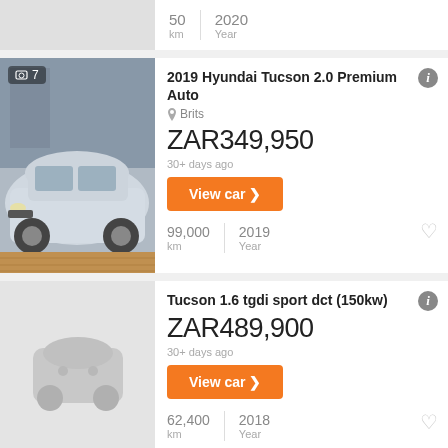50 km | 2020 Year
2019 Hyundai Tucson 2.0 Premium Auto
Brits
ZAR349,950
30+ days ago
View car >
99,000 km | 2019 Year
Tucson 1.6 tgdi sport dct (150kw)
ZAR489,900
30+ days ago
View car >
62,400 km | 2018 Year
Hyundai Tucson 2.0 Premium 2016